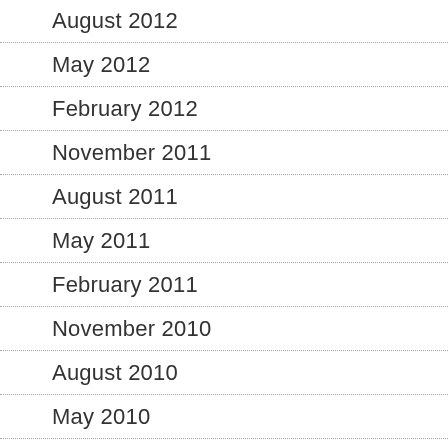August 2012
May 2012
February 2012
November 2011
August 2011
May 2011
February 2011
November 2010
August 2010
May 2010
February 2010
November 2009